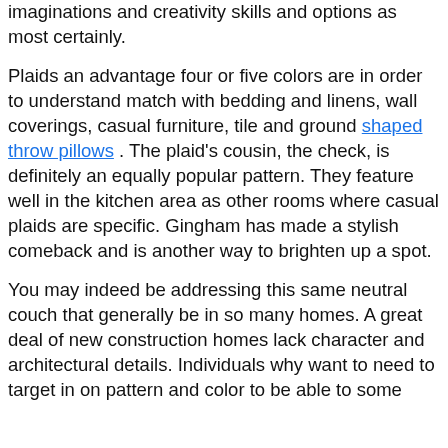imaginations and creativity skills and options as most certainly.
Plaids an advantage four or five colors are in order to understand match with bedding and linens, wall coverings, casual furniture, tile and ground shaped throw pillows . The plaid’s cousin, the check, is definitely an equally popular pattern. They feature well in the kitchen area as other rooms where casual plaids are specific. Gingham has made a stylish comeback and is another way to brighten up a spot.
You may indeed be addressing this same neutral couch that generally be in so many homes. A great deal of new construction homes lack character and architectural details. Individuals why want to need to target in on pattern and color to be able to some